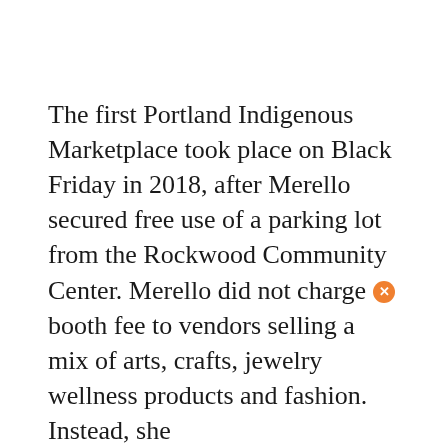The first Portland Indigenous Marketplace took place on Black Friday in 2018, after Merello secured free use of a parking lot from the Rockwood Community Center. Merello did not charge a booth fee to vendors selling a mix of arts, crafts, jewelry wellness products and fashion. Instead, she